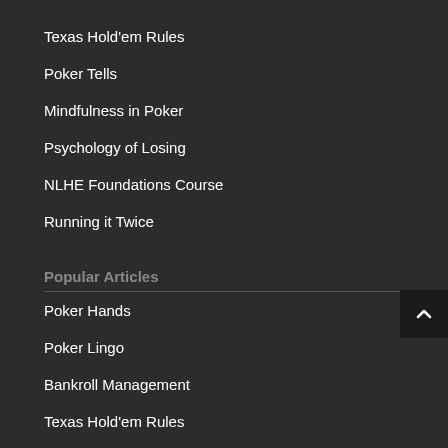Texas Hold'em Rules
Poker Tells
Mindfulness in Poker
Psychology of Losing
NLHE Foundations Course
Running it Twice
Popular Articles
Poker Hands
Poker Lingo
Bankroll Management
Texas Hold'em Rules
Poker Tells
Mindfulness in Poker